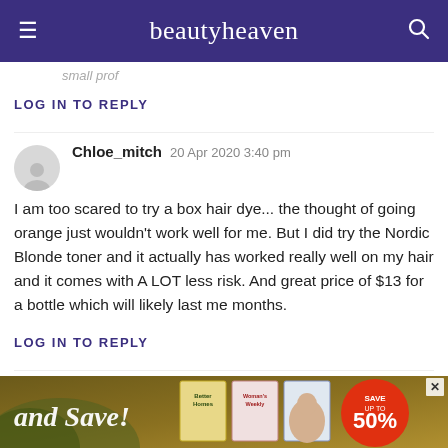beautyheaven
small prof
LOG IN TO REPLY
Chloe_mitch  20 Apr 2020 3:40 pm
I am too scared to try a box hair dye... the thought of going orange just wouldn't work well for me. But I did try the Nordic Blonde toner and it actually has worked really well on my hair and it comes with A LOT less risk. And great price of $13 for a bottle which will likely last me months.
LOG IN TO REPLY
Shop A Everyday  20 Apr 2020 4:04 pm
I need to do this, need to trim my fringe too
[Figure (infographic): Advertisement banner: 'and Save!' text with magazine covers and 'SAVE UP TO 50%' badge]